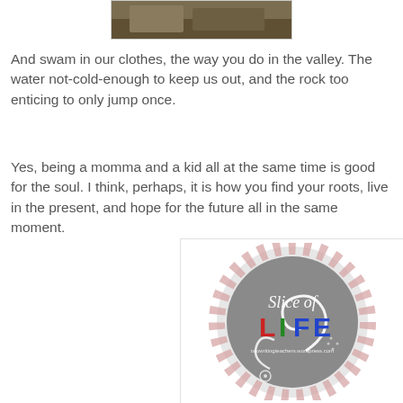[Figure (photo): Top portion of a nature/outdoor photograph, partially visible at the top of the page]
And swam in our clothes, the way you do in the valley. The water not-cold-enough to keep us out, and the rock too enticing to only jump once.
Yes, being a momma and a kid all at the same time is good for the soul. I think, perhaps, it is how you find your roots, live in the present, and hope for the future all in the same moment.
[Figure (logo): Slice of Life badge/logo — circular gray badge with pink polka-dot border, white floral swirl design, text 'Slice of' in cursive and 'LIFE' in colorful block letters (red L, green I, blue F, blue E), and URL twowritingteachers.wordpress.com]